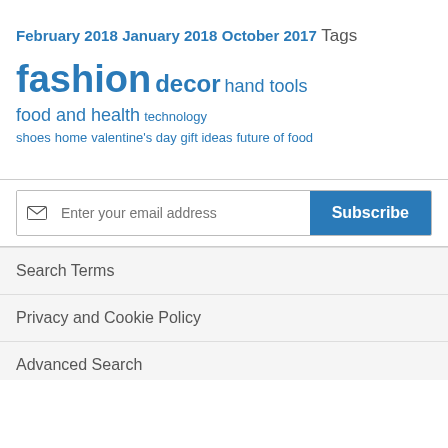February 2018
January 2018
October 2017
Tags
fashion decor hand tools food and health technology shoes home valentine's day gift ideas future of food
Enter your email address  Subscribe
Search Terms
Privacy and Cookie Policy
Advanced Search